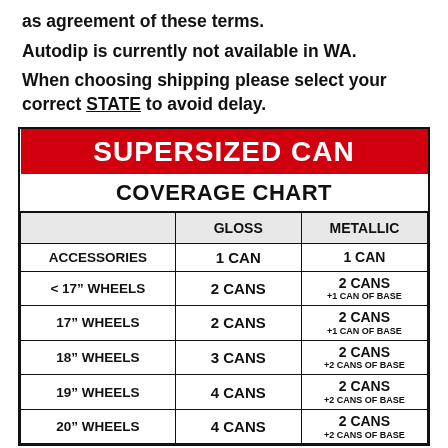as agreement of these terms.
Autodip is currently not available in WA.
When choosing shipping please select your correct STATE to avoid delay.
|  | GLOSS | METALLIC |
| --- | --- | --- |
| ACCESSORIES | 1 CAN | 1 CAN |
| < 17" WHEELS | 2 CANS | 2 CANS +1 CAN OF BASE |
| 17" WHEELS | 2 CANS | 2 CANS +1 CAN OF BASE |
| 18" WHEELS | 3 CANS | 2 CANS +2 CANS OF BASE |
| 19" WHEELS | 4 CANS | 2 CANS +2 CANS OF BASE |
| 20" WHEELS | 4 CANS | 2 CANS +2 CANS OF BASE |